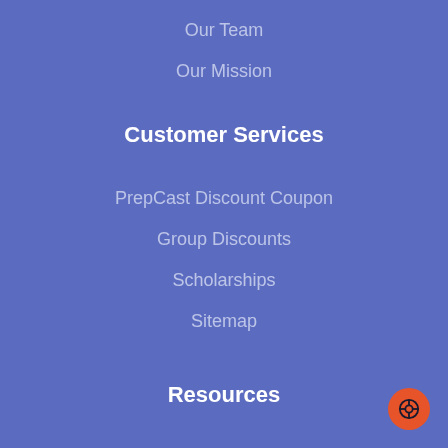Our Team
Our Mission
Customer Services
PrepCast Discount Coupon
Group Discounts
Scholarships
Sitemap
Resources
Free PMP® Newsletter
Free PMP® Questions
Free PMI-ACP® Questions
Free CAPM® Simulator